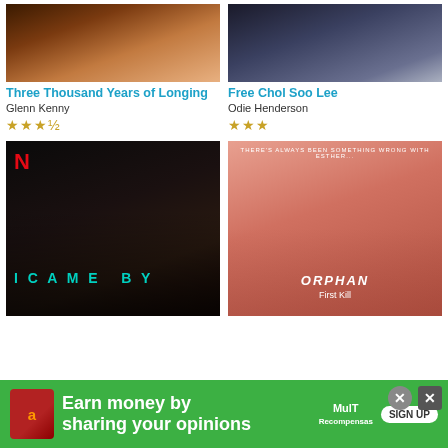[Figure (photo): Movie poster for Three Thousand Years of Longing]
[Figure (photo): Movie poster for Free Chol Soo Lee]
Three Thousand Years of Longing
Free Chol Soo Lee
Glenn Kenny
Odie Henderson
★★★½
★★★
[Figure (photo): Movie poster for I Came By (Netflix)]
[Figure (photo): Movie poster for Orphan: First Kill]
[Figure (other): Advertisement banner: Earn money by sharing your opinions. Sign Up. MullT Recompensas logo.]